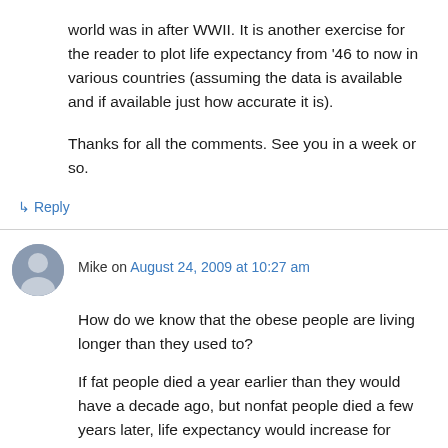world was in after WWII. It is another exercise for the reader to plot life expectancy from '46 to now in various countries (assuming the data is available and if available just how accurate it is).
Thanks for all the comments. See you in a week or so.
↳ Reply
Mike on August 24, 2009 at 10:27 am
How do we know that the obese people are living longer than they used to?
If fat people died a year earlier than they would have a decade ago, but nonfat people died a few years later, life expectancy would increase for